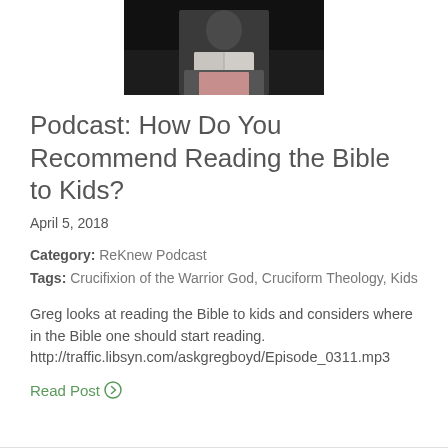[Figure (photo): Photo of a person holding an open book, dark background, partially cropped at top]
Podcast: How Do You Recommend Reading the Bible to Kids?
April 5, 2018
Category: ReKnew Podcast
Tags: Crucifixion of the Warrior God, Cruciform Theology, Kids
Greg looks at reading the Bible to kids and considers where in the Bible one should start reading. http://traffic.libsyn.com/askgregboyd/Episode_0311.mp3
Read Post ⓘ